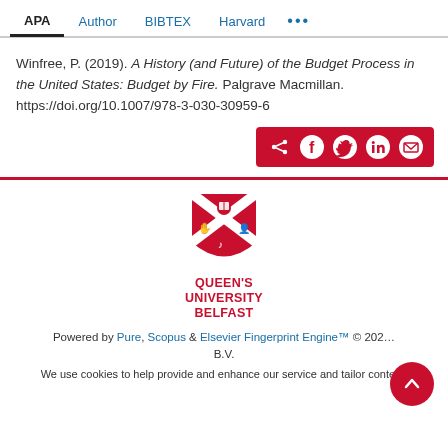APA | Author | BIBTEX | Harvard ...
Winfree, P. (2019). A History (and Future) of the Budget Process in the United States: Budget by Fire. Palgrave Macmillan. https://doi.org/10.1007/978-3-030-30959-6
[Figure (other): Share buttons bar with icons for share, Facebook, Twitter, LinkedIn, and email on a red background]
[Figure (logo): Queen's University Belfast shield logo in red and white with QUEEN'S UNIVERSITY BELFAST text in red]
Powered by Pure, Scopus & Elsevier Fingerprint Engine™ © 202... B.V. We use cookies to help provide and enhance our service and tailor content.